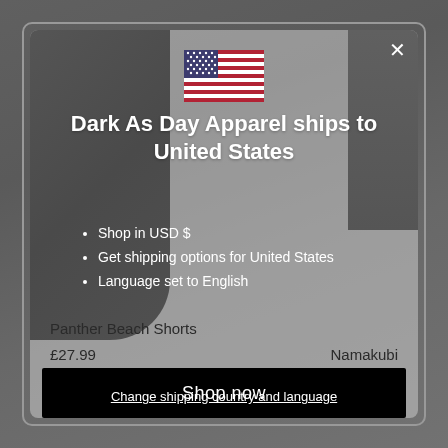[Figure (screenshot): Screenshot of a shipping region selection modal popup from Dark As Day Apparel website showing US flag, shipping info, product details, and action buttons]
Dark As Day Apparel ships to United States
Shop in USD $
Get shipping options for United States
Language set to English
Panther Beach Shorts
£27.99
Namakubi
Shop now
Change shipping country and language